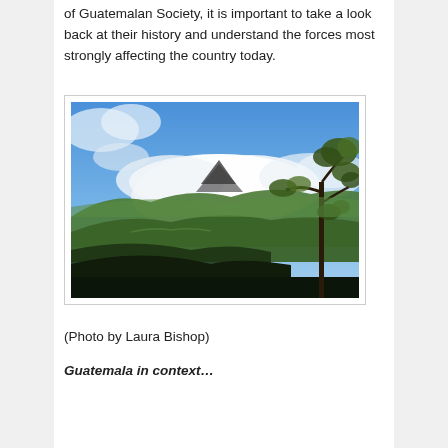of Guatemalan Society, it is important to take a look back at their history and understand the forces most strongly affecting the country today.
[Figure (photo): A landscape photograph showing a volcanic mountain partially obscured by large white clouds, with forested green hillsides in the foreground and middle ground, and a leafy tree branch visible on the right side. Blue sky fills the upper portion.]
(Photo by Laura Bishop)
Guatemala in context…